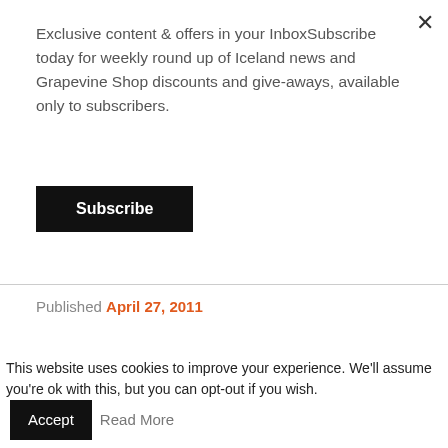Exclusive content & offers in your InboxSubscribe today for weekly round up of Iceland news and Grapevine Shop discounts and give-aways, available only to subscribers.
Subscribe
Published April 27, 2011
[Figure (logo): Reykjavik Grapevine stylized G crown shield logo in black]
Words by
The Reykjavik Grapevine
@rvkgrapevine
This website uses cookies to improve your experience. We'll assume you're ok with this, but you can opt-out if you wish. Accept Read More